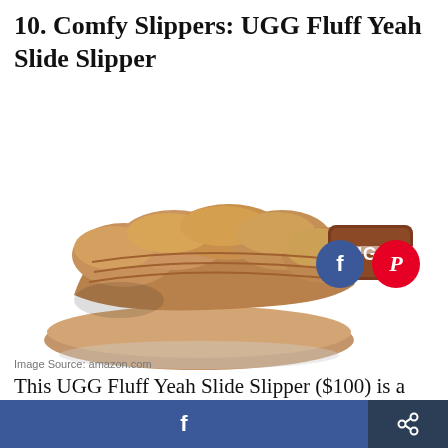10. Comfy Slippers: UGG Fluff Yeah Slide Slipper
[Figure (photo): UGG Fluff Yeah Slide Slipper in tan/camel color, a fluffy open-toe slide sandal with UGG branded elastic strap at back, shown on white background. Two social share buttons (Facebook blue circle, Pinterest red circle) overlaid on bottom right of image.]
Image Source: amazon.com
This UGG Fluff Yeah Slide Slipper ($100) is a
f  [share icon]